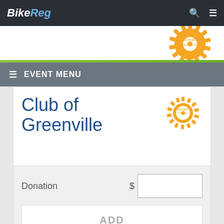BikeReg
≡ EVENT MENU
Club of Greenville
Donation $
ADD
REGISTER WITH OUTSIDE OR